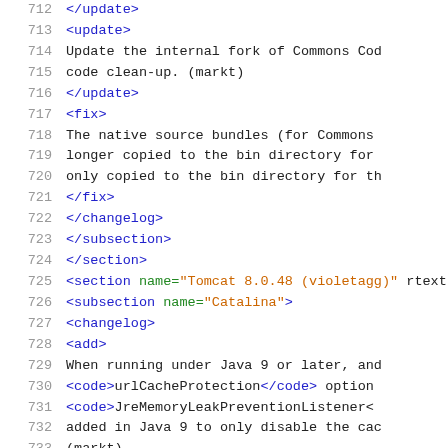XML source code lines 712-733 showing changelog entries for Tomcat 8.0.48